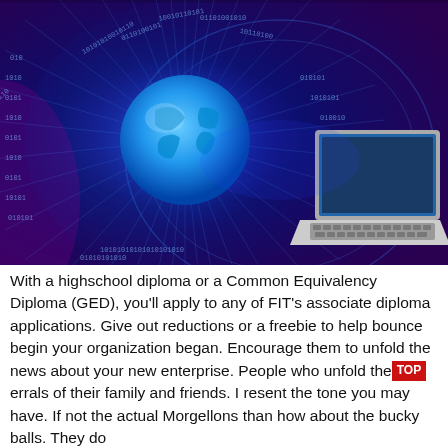[Figure (illustration): Digital illustration showing a glowing blue globe/Earth with binary code (0s and 1s) swirling around it in a radial burst pattern, and a laptop computer in the lower right on a deep blue background.]
With a highschool diploma or a Common Equivalency Diploma (GED), you'll apply to any of FIT's associate diploma applications. Give out reductions or a freebie to help bounce begin your organization began. Encourage them to unfold the news about your new enterprise. People who unfold the referrals of their family and friends. I resent the tone you may have. If not the actual Morgellons than how about the bucky balls. They do